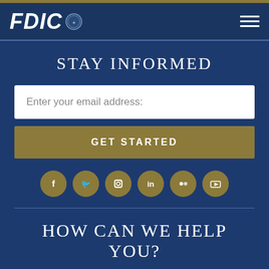FDIC
STAY INFORMED
Enter your email address:
GET STARTED
[Figure (illustration): Social media icons: Facebook, Twitter, Instagram, LinkedIn, Flickr, YouTube — gold circular buttons]
HOW CAN WE HELP YOU?
I am a...